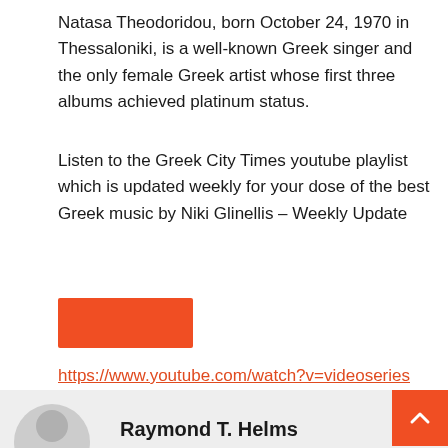Natasa Theodoridou, born October 24, 1970 in Thessaloniki, is a well-known Greek singer and the only female Greek artist whose first three albums achieved platinum status.
Listen to the Greek City Times youtube playlist which is updated weekly for your dose of the best Greek music by Niki Glinellis – Weekly Update
[Figure (other): Orange rectangular button (YouTube play button or link button)]
https://www.youtube.com/watch?v=videoseries
Top 40 Greek Music 2021
[Figure (other): Author profile section with avatar placeholder (gray circle/person icon), author name 'Raymond T. Helms', and orange scroll-to-top button]